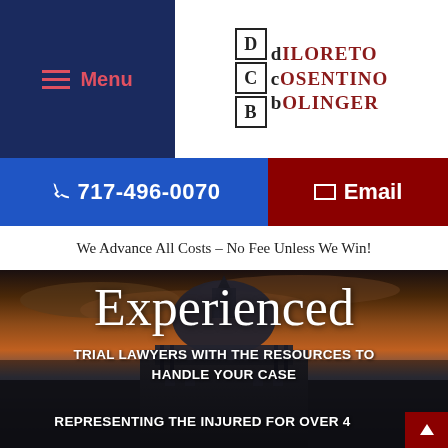Menu
DiLoreto Cosentino Bolinger
717-496-0070  Email
We Advance All Costs – No Fee Unless We Win!
[Figure (photo): Capitol building dome at sunset with dramatic cloudy sky, dark silhouette of government building]
Experienced
TRIAL LAWYERS WITH THE RESOURCES TO HANDLE YOUR CASE
REPRESENTING THE INJURED FOR OVER 4